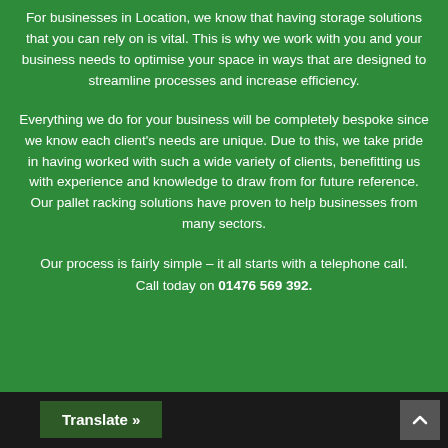For businesses in Location, we know that having storage solutions that you can rely on is vital. This is why we work with you and your business needs to optimise your space in ways that are designed to streamline processes and increase efficiency.
Everything we do for your business will be completely bespoke since we know each client's needs are unique. Due to this, we take pride in having worked with such a wide variety of clients, benefitting us with experience and knowledge to draw from for future reference. Our pallet racking solutions have proven to help businesses from many sectors.
Our process is fairly simple – it all starts with a telephone call. Call today on 01476 569 392.
Translate »